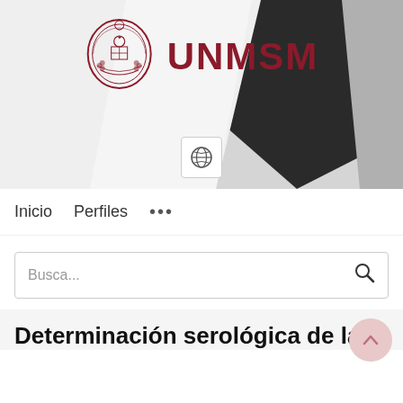[Figure (screenshot): UNMSM university repository website screenshot showing hero banner with university crest logo and UNMSM text in dark red, navigation bar with Inicio and Perfiles links, a search box, and the beginning of an article title in Spanish about serological determination.]
Determinación serológica de la